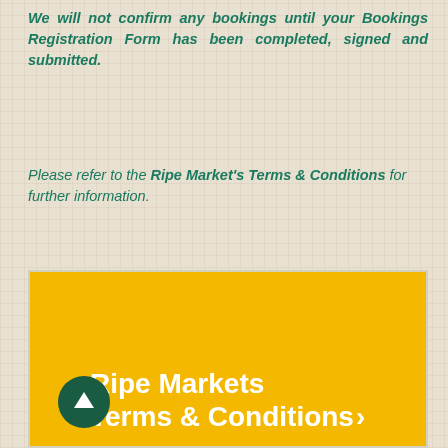We will not confirm any bookings until your Bookings Registration Form has been completed, signed and submitted.
Please refer to the Ripe Market's Terms & Conditions for further information.
[Figure (other): Yellow banner/button with white bold text reading 'Ripe Markets Terms & Conditions' with a right arrow, and a dark green circular arrow-up icon on the left.]